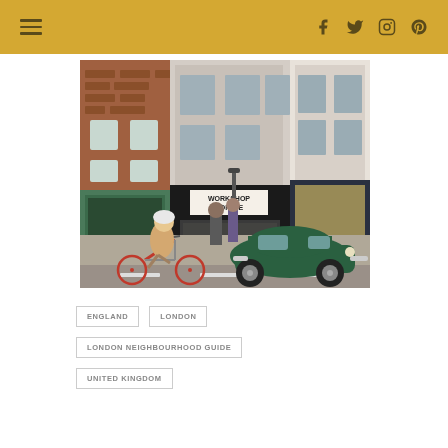Navigation header with hamburger menu and social icons (Facebook, Twitter, Instagram, Pinterest)
[Figure (photo): Street scene in London showing a person cycling past a green VW Beetle car parked in front of Workshop Coffee shop, with red brick buildings in the background]
ENGLAND
LONDON
LONDON NEIGHBOURHOOD GUIDE
UNITED KINGDOM